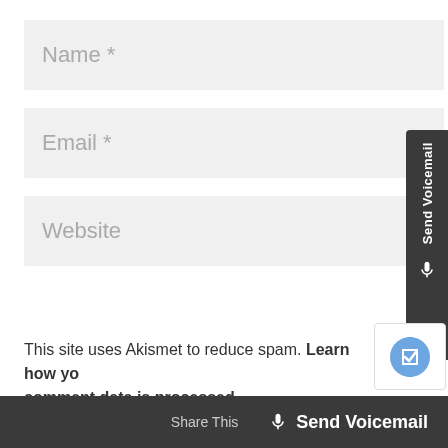[Figure (screenshot): Web form input field labeled 'Name *' with light gray background]
[Figure (screenshot): Web form input field labeled 'Email *' with light gray background]
[Figure (screenshot): Web form input field labeled 'Website' with light gray background]
This site uses Akismet to reduce spam. Learn how your comment data is processed.
[Figure (screenshot): Side panel button with 'Send Voicemail' text rotated vertically and microphone icon, dark background]
[Figure (screenshot): Bottom bar with 'Share This' text and 'Send Voicemail' button with microphone icon]
[Figure (screenshot): reCAPTCHA badge partially visible at bottom right]